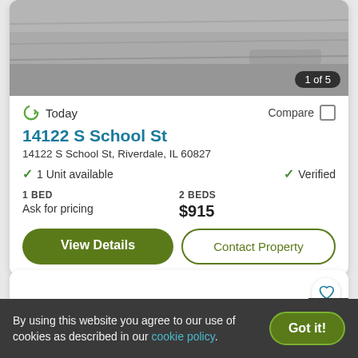[Figure (photo): Property exterior photo, grayscale, showing what appears to be a road or driveway. Badge '1 of 5' in bottom right corner.]
Today
Compare
14122 S School St
14122 S School St, Riverdale, IL 60827
✓ 1 Unit available
✓ Verified
1 BED
Ask for pricing
2 BEDS
$915
View Details
Contact Property
[Figure (photo): Partial view of a second property listing card with a heart/favorite icon and a partial dark building image.]
By using this website you agree to our use of cookies as described in our cookie policy.
Got it!